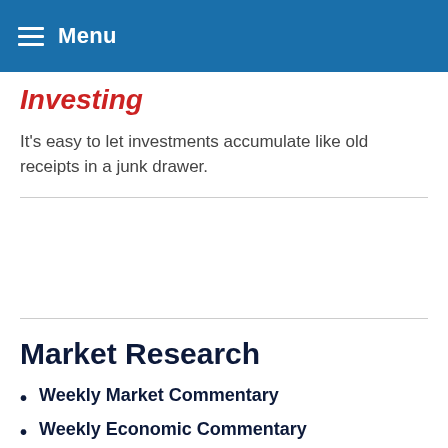Menu
Investing
It's easy to let investments accumulate like old receipts in a junk drawer.
Market Research
Weekly Market Commentary
Weekly Economic Commentary